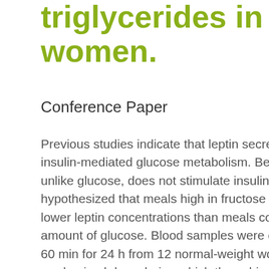triglycerides in women.
Conference Paper
Previous studies indicate that leptin secretion is regulated by insulin-mediated glucose metabolism. Because fructose, unlike glucose, does not stimulate insulin secretion, we hypothesized that meals high in fructose would result in lower leptin concentrations than meals containing the same amount of glucose. Blood samples were collected every 30-60 min for 24 h from 12 normal-weight women on 2 randomized days during which the subjects consumed three meals containing 55, 30, and 15% of total kilocalories as carbohydrate, fat, and